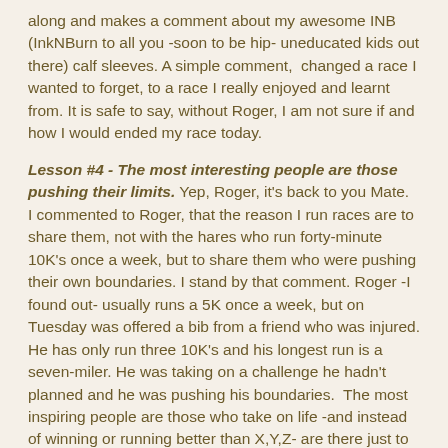along and makes a comment about my awesome INB (InkNBurn to all you -soon to be hip- uneducated kids out there) calf sleeves. A simple comment,  changed a race I wanted to forget, to a race I really enjoyed and learnt from. It is safe to say, without Roger, I am not sure if and how I would ended my race today.
Lesson #4 - The most interesting people are those pushing their limits. Yep, Roger, it's back to you Mate.  I commented to Roger, that the reason I run races are to share them, not with the hares who run forty-minute 10K's once a week, but to share them who were pushing their own boundaries. I stand by that comment. Roger -I found out- usually runs a 5K once a week, but on Tuesday was offered a bib from a friend who was injured. He has only run three 10K's and his longest run is a seven-miler. He was taking on a challenge he hadn't planned and he was pushing his boundaries.  The most inspiring people are those who take on life -and instead of winning or running better than X,Y,Z- are there just to see what they can do.
Lesson #5 - An goal shared is a goal achieved. It is